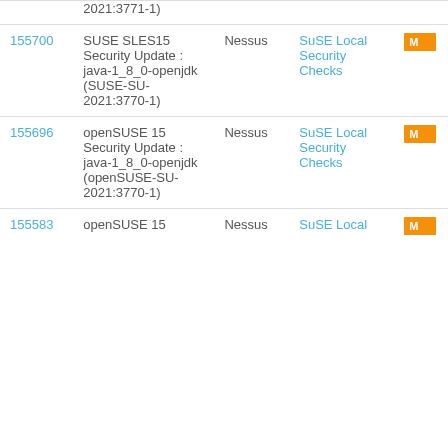| ID | Name | Plugin | Family | Severity |
| --- | --- | --- | --- | --- |
|  | 2021:3771-1) |  |  |  |
| 155700 | SUSE SLES15 Security Update : java-1_8_0-openjdk (SUSE-SU-2021:3770-1) | Nessus | SuSE Local Security Checks | M |
| 155696 | openSUSE 15 Security Update : java-1_8_0-openjdk (openSUSE-SU-2021:3770-1) | Nessus | SuSE Local Security Checks | M |
| 155583 | openSUSE 15 | Nessus | SuSE Local | M |